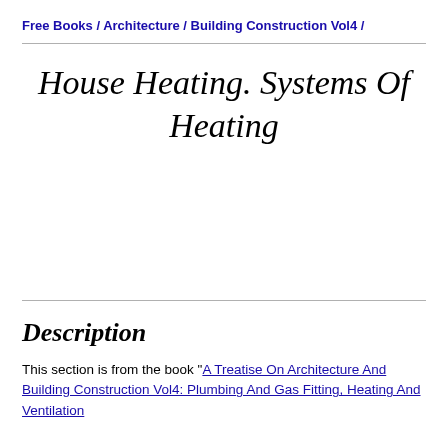Free Books / Architecture / Building Construction Vol4 /
House Heating. Systems Of Heating
Description
This section is from the book "A Treatise On Architecture And Building Construction Vol4: Plumbing And Gas Fitting, Heating And Ventilation